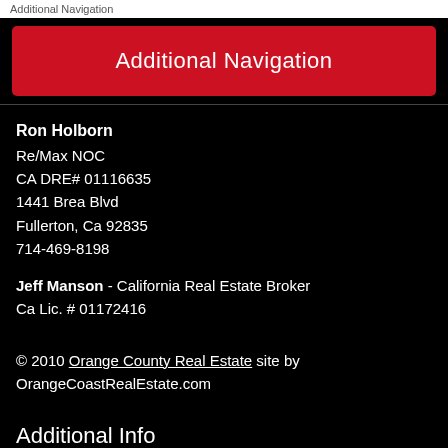Additional Navigation
Ron Holborn
Re/Max NOC
CA DRE# 01116635
1441 Brea Blvd
Fullerton, Ca 92835
714-469-8198
Jeff Manson - California Real Estate Broker
Ca Lic. # 01172416
© 2010 Orange County Real Estate site by OrangeCoastRealEstate.com
Additional Info